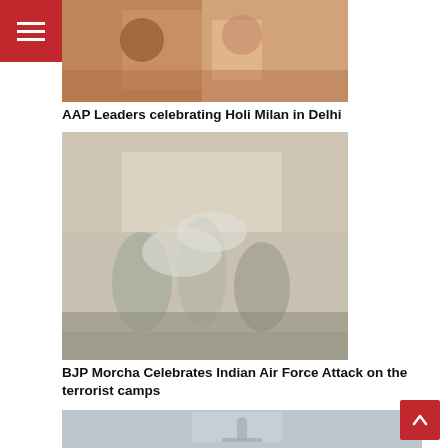[Figure (photo): AAP leaders at Holi Milan event, partial view of people in red/saffron clothing]
AAP Leaders celebrating Holi Milan in Delhi
[Figure (photo): BJP Morcha members celebrating with smoke/firecrackers on a street]
BJP Morcha Celebrates Indian Air Force Attack on the terrorist camps
[Figure (photo): Crowd of tourists near India Gate in hazy/polluted air]
Tourists continues visiting India gate in heavy air pollution
[Figure (photo): Group of men in saffron scarves holding signs and protesting]